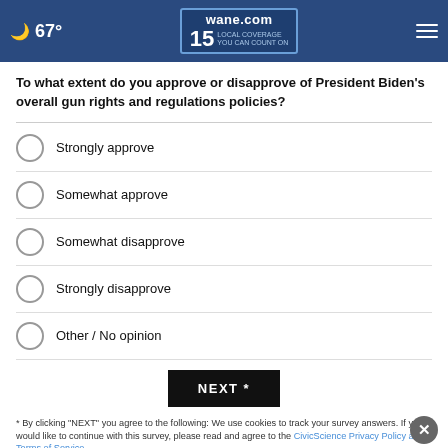67° wane.com 15 LOCAL COVERAGE YOU CAN COUNT ON
To what extent do you approve or disapprove of President Biden's overall gun rights and regulations policies?
Strongly approve
Somewhat approve
Somewhat disapprove
Strongly disapprove
Other / No opinion
NEXT *
* By clicking "NEXT" you agree to the following: We use cookies to track your survey answers. If you would like to continue with this survey, please read and agree to the CivicScience Privacy Policy and Terms of Service
[Figure (screenshot): Reynolds Wealth Management advertisement banner: SAVE > INVEST > RETIRE with START NOW button]
TOP STORIES >